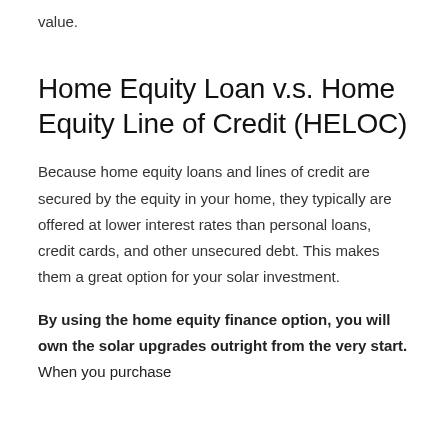value.
Home Equity Loan v.s. Home Equity Line of Credit (HELOC)
Because home equity loans and lines of credit are secured by the equity in your home, they typically are offered at lower interest rates than personal loans, credit cards, and other unsecured debt. This makes them a great option for your solar investment.
By using the home equity finance option, you will own the solar upgrades outright from the very start. When you purchase